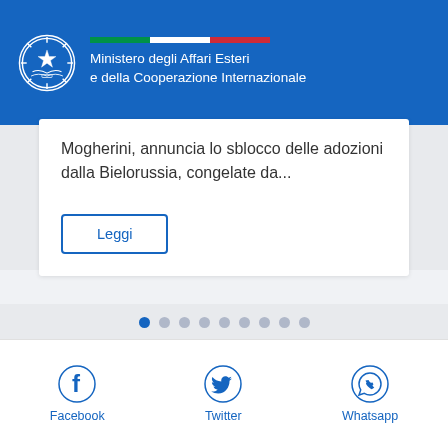Ministero degli Affari Esteri e della Cooperazione Internazionale
Mogherini, annuncia lo sblocco delle adozioni dalla Bielorussia, congelate da...
Leggi
Facebook  Twitter  Whatsapp